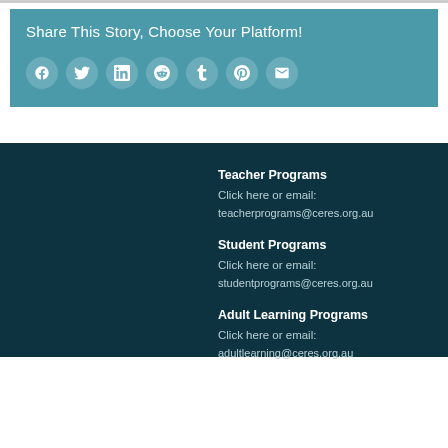Share This Story, Choose Your Platform!
[Figure (infographic): Social media sharing icons: Facebook, Twitter, LinkedIn, Reddit, Tumblr, Pinterest, Email]
Teacher Programs
Click here or email:
teacherprograms@ceres.org.au
Student Programs
Click here or email:
studentprograms@ceres.org.au
Adult Learning Programs
Click here or email:
adultlearning@ceres.org.au